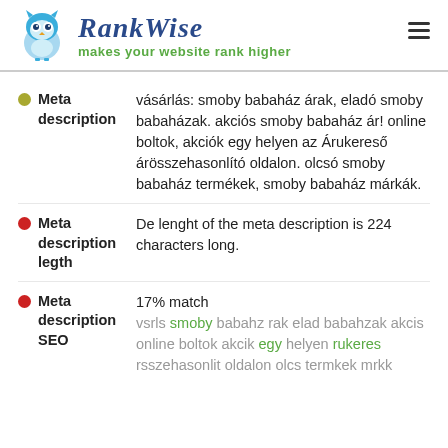RankWise — makes your website rank higher
Meta description: vásárlás: smoby babaház árak, eladó smoby babaházak. akciós smoby babaház ár! online boltok, akciók egy helyen az Árukereső árösszehasonlító oldalon. olcsó smoby babaház termékek, smoby babaház márkák.
Meta description legth: De lenght of the meta description is 224 characters long.
Meta description SEO: 17% match — vsrls smoby babahz rak elad babahzak akcis online boltok akcik egy helyen rukeres rsszehasonlit oldalon olcs termkek mrkk